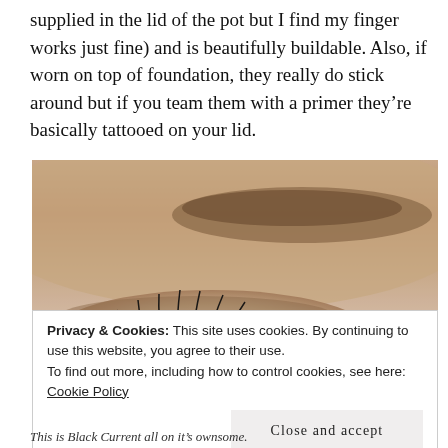supplied in the lid of the pot but I find my finger works just fine) and is beautifully buildable. Also, if worn on top of foundation, they really do stick around but if you team them with a primer they’re basically tattooed on your lid.
[Figure (photo): Close-up photograph of a person's eye and eyebrow showing shimmer eyeshadow on the eyelid, with blue-grey iris visible and dark lashes.]
Privacy & Cookies: This site uses cookies. By continuing to use this website, you agree to their use.
To find out more, including how to control cookies, see here: Cookie Policy
Close and accept
This is Black Current all on it’s ownsome.